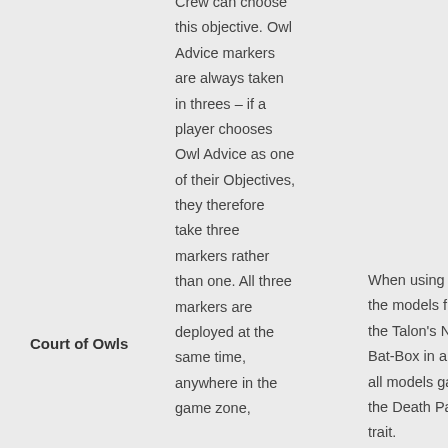Crew can choose this objective. Owl Advice markers are always taken in threes – if a player chooses Owl Advice as one of their Objectives, they therefore take three markers rather than one. All three markers are deployed at the same time, anywhere in the game zone,
Court of Owls
When using only the models from the Talon's Night Bat-Box in a game, all models gains the Death Pack trait.